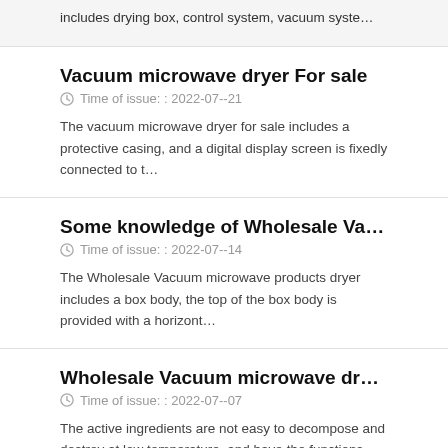includes drying box, control system, vacuum syste…
Vacuum microwave dryer For sale
Time of issue: : 2022-07--21
The vacuum microwave dryer for sale includes a protective casing, and a digital display screen is fixedly connected to t…
Some knowledge of Wholesale Vacuum microwave pro…
Time of issue: : 2022-07--14
The Wholesale Vacuum microwave products dryer includes a box body, the top of the box body is provided with a horizont…
Wholesale Vacuum microwave dryer products
Time of issue: : 2022-07--07
The active ingredients are not easy to decompose and destroy at low temperature, and have the functions of…